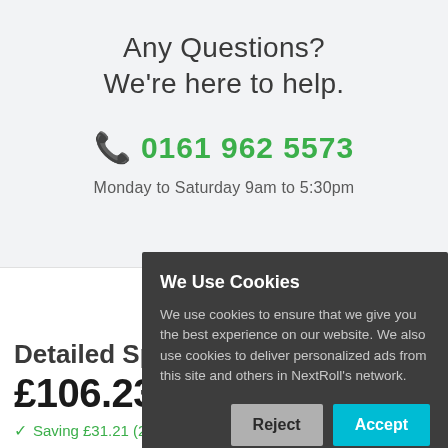Any Questions?
We're here to help.
📞 0161 962 5573
Monday to Saturday 9am to 5:30pm
Detailed Specification
£106.23
✓ Saving £31.21 (22.71%)
We Use Cookies
We use cookies to ensure that we give you the best experience on our website. We also use cookies to deliver personalized ads from this site and others in NextRoll's network.
Reject
Accept